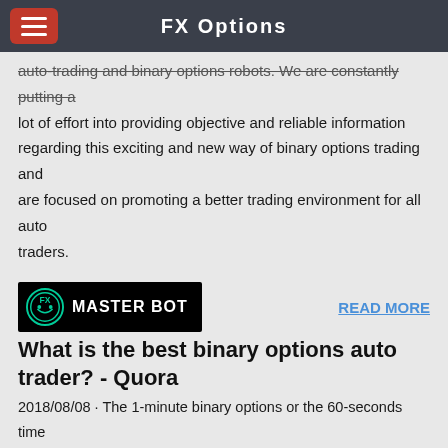FX Options
auto-trading and binary options robots. We are constantly putting a lot of effort into providing objective and reliable information regarding this exciting and new way of binary options trading and are focused on promoting a better trading environment for all auto traders.
[Figure (logo): FX Master Bot logo - black background with green circular FX icon and white text MASTER BOT]
READ MORE
What is the best binary options auto trader? - Quora
2018/08/08 · The 1-minute binary options or the 60-seconds time frame is the best chart for trading binary options. In other words, the best binary options expiration time is the 60 seconds time frame. We recommend highlighting the starting point on your charts. And the ending point of your 50-candle low that you have identified.